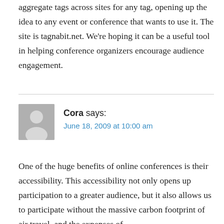aggregate tags across sites for any tag, opening up the idea to any event or conference that wants to use it. The site is tagnabit.net. We're hoping it can be a useful tool in helping conference organizers encourage audience engagement.
Cora says:
June 18, 2009 at 10:00 am
One of the huge benefits of online conferences is their accessibility. This accessibility not only opens up participation to a greater audience, but it also allows us to participate without the massive carbon footprint of air travel, and the expenses of